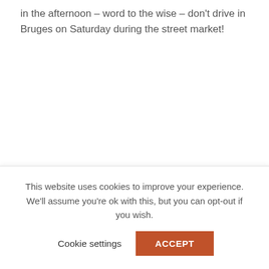in the afternoon – word to the wise – don't drive in Bruges on Saturday during the street market!
This website uses cookies to improve your experience. We'll assume you're ok with this, but you can opt-out if you wish.